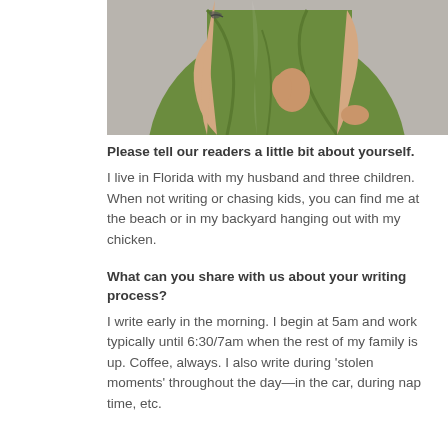[Figure (photo): Partial photo of a person wearing a green dress, showing torso and hands, with a tattoo visible on the arm, against a grey background.]
Please tell our readers a little bit about yourself.
I live in Florida with my husband and three children. When not writing or chasing kids, you can find me at the beach or in my backyard hanging out with my chicken.
What can you share with us about your writing process?
I write early in the morning. I begin at 5am and work typically until 6:30/7am when the rest of my family is up. Coffee, always. I also write during 'stolen moments' throughout the day—in the car, during nap time, etc.